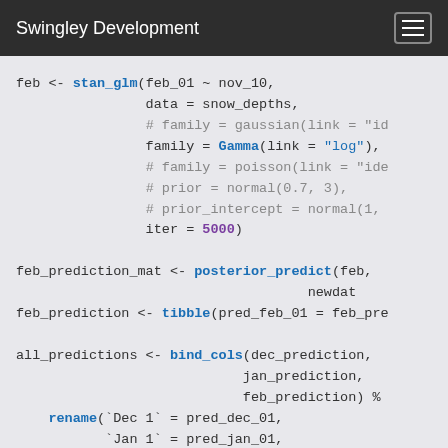Swingley Development
[Figure (screenshot): R code block showing stan_glm, posterior_predict, tibble, bind_cols, and rename function calls for snow depth prediction model]